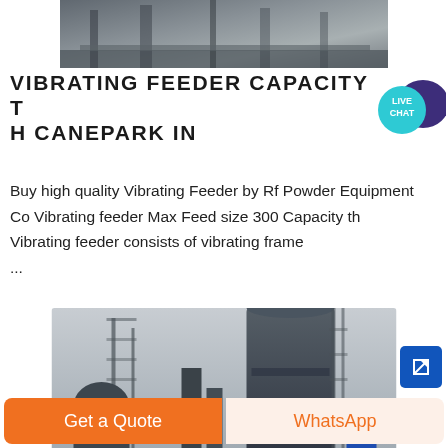[Figure (photo): Industrial vibrating feeder equipment outdoors, metal structures and conveyors visible from above]
VIBRATING FEEDER CAPACITY TH CANEPARK IN
[Figure (infographic): Live Chat speech bubble badge with teal background and dark blue chat icon]
Buy high quality Vibrating Feeder by Rf Powder Equipment Co Vibrating feeder Max Feed size 300 Capacity th Vibrating feeder consists of vibrating frame ...
[Figure (photo): Industrial silos and processing towers, dark metal structures against overcast sky, with blue machinery component at base]
Get a Quote
WhatsApp